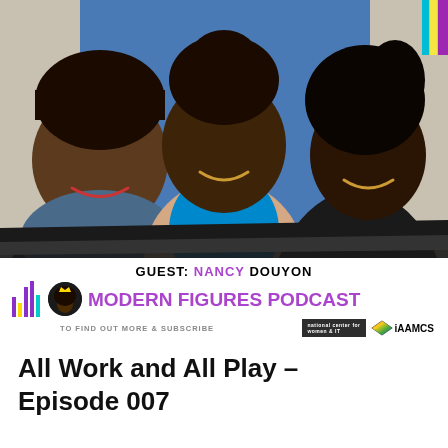[Figure (photo): Three smiling Black women posing together; two are wearing NSBC (National Society of Blacks in Computing) 2018 t-shirts; blue background]
GUEST: NANCY DOUYON
[Figure (logo): Modern Figures Podcast logo with purple bars, afro silhouette icon, purple title text, subscribe text, and iAAMCS sponsor logo]
All Work and All Play – Episode 007